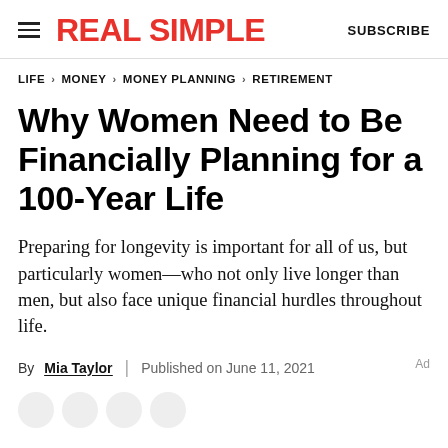REAL SIMPLE  SUBSCRIBE
LIFE > MONEY > MONEY PLANNING > RETIREMENT
Why Women Need to Be Financially Planning for a 100-Year Life
Preparing for longevity is important for all of us, but particularly women—who not only live longer than men, but also face unique financial hurdles throughout life.
By Mia Taylor | Published on June 11, 2021